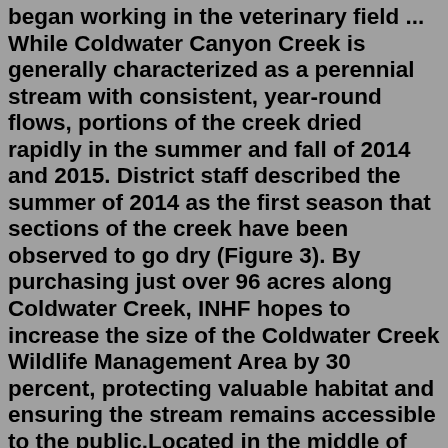began working in the veterinary field ... While Coldwater Canyon Creek is generally characterized as a perennial stream with consistent, year-round flows, portions of the creek dried rapidly in the summer and fall of 2014 and 2015. District staff described the summer of 2014 as the first season that sections of the creek have been observed to go dry (Figure 3). By purchasing just over 96 acres along Coldwater Creek, INHF hopes to increase the size of the Coldwater Creek Wildlife Management Area by 30 percent, protecting valuable habitat and ensuring the stream remains accessible to the public.Located in the middle of the Oklahoma panhandle, the 4,333-acre (17.54 km2) Optima National Wildlife Refuge is made up of grasslands and wooded bottomland on the Coldwater Creek arm of the Optima Lake project. The 8,062-acre Optima Wildlife Management Area, an Oklahoma state-managed hunting area, sits adjacent on the Beaver River arm of the ...Sam A Baker State Park. Castor River State Forest. Lake Wappapella State Wildlife Management Area. Yokum